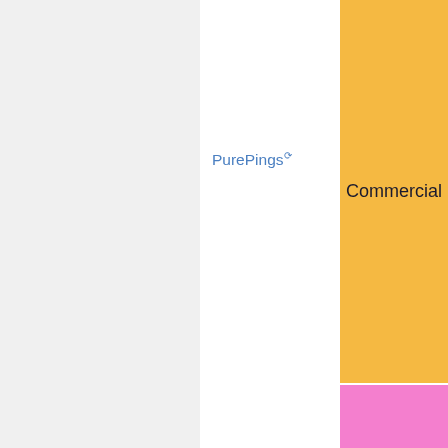| Name | Commercial |
| --- | --- |
| PurePings | Commercial |
| TypeFrag | Both |
| myMumble | Both |
Commercial designates whether a provider charges for the service or not.
CVP indicates that a provider